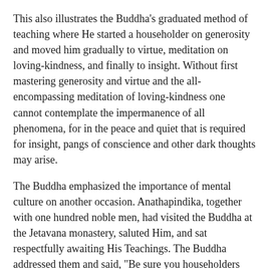This also illustrates the Buddha's graduated method of teaching where He started a householder on generosity and moved him gradually to virtue, meditation on loving-kindness, and finally to insight. Without first mastering generosity and virtue and the all-encompassing meditation of loving-kindness one cannot contemplate the impermanence of all phenomena, for in the peace and quiet that is required for insight, pangs of conscience and other dark thoughts may arise.
The Buddha emphasized the importance of mental culture on another occasion. Anathapindika, together with one hundred noble men, had visited the Buddha at the Jetavana monastery, saluted Him, and sat respectfully awaiting His Teachings. The Buddha addressed them and said, "Be sure you householders provide the monastic community with clothing, food, shelter and medicine. But you should not be satisfied with that. May you also from time to time strive to enter and abide in the joy of (meditative) seclusion."
The Buddha also emphasized the necessity of virtue before one could embark on mental culture. He said, "If the heart is corrupted then all actions, words, and thoughts are tainted. Such a person will be certain to develop his passions and will be prone to do evil, the...